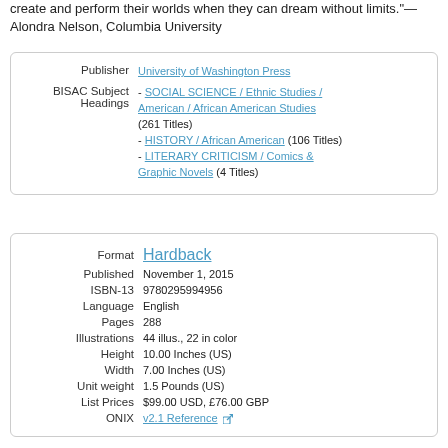create and perform their worlds when they can dream without limits."—Alondra Nelson, Columbia University
| Field | Value |
| --- | --- |
| Publisher | University of Washington Press |
| BISAC Subject Headings | - SOCIAL SCIENCE / Ethnic Studies / American / African American Studies (261 Titles)
- HISTORY / African American (106 Titles)
- LITERARY CRITICISM / Comics & Graphic Novels (4 Titles) |
| Field | Value |
| --- | --- |
| Format | Hardback |
| Published | November 1, 2015 |
| ISBN-13 | 9780295994956 |
| Language | English |
| Pages | 288 |
| Illustrations | 44 illus., 22 in color |
| Height | 10.00 Inches (US) |
| Width | 7.00 Inches (US) |
| Unit weight | 1.5 Pounds (US) |
| List Prices | $99.00 USD, £76.00 GBP |
| ONIX | v2.1 Reference |